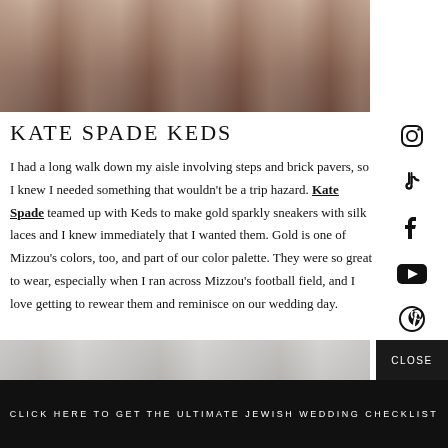[Figure (photo): Group of bridesmaids in pink/mauve dresses seen from behind]
KATE SPADE KEDS
I had a long walk down my aisle involving steps and brick pavers, so I knew I needed something that wouldn't be a trip hazard. Kate Spade teamed up with Keds to make gold sparkly sneakers with silk laces and I knew immediately that I wanted them. Gold is one of Mizzou's colors, too, and part of our color palette. They were so great to wear, especially when I ran across Mizzou's football field, and I love getting to rewear them and reminisce on our wedding day.
[Figure (photo): Partial photo at bottom, black and white, floral details]
CLOSE
CLICK HERE TO GET THE ULTIMATE JEWISH WEDDING CHECKLIST